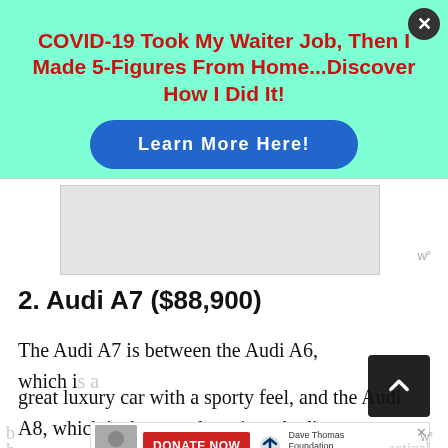[Figure (infographic): Advertisement banner with mint/turquoise background. Headline in bold red text: 'COVID-19 Took My Waiter Job, Then I Made 5-Figures From Home...Discover How I Did It!' with a blue rounded 'Learn More Here!' button. Close button (X) in top right.]
2. Audi A7 ($88,900)
The Audi A7 is between the Audi A6, which is a great luxury car with a sporty feel, and the Audi A8, which is the most luxurious Audi you can
[Figure (infographic): Bottom advertisement banner for Dave Thomas Foundation for Adoption with a 'DONATE NOW' button in red. Features a photo of a young person and the foundation logo.]